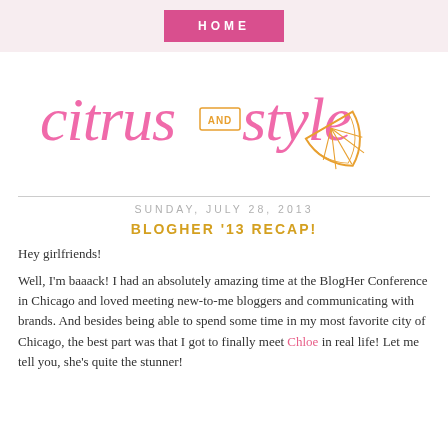HOME
[Figure (logo): Citrus and Style blog logo in pink cursive script with orange citrus slice illustration]
SUNDAY, JULY 28, 2013
BLOGHER '13 RECAP!
Hey girlfriends!
Well, I'm baaack! I had an absolutely amazing time at the BlogHer Conference in Chicago and loved meeting new-to-me bloggers and communicating with brands. And besides being able to spend some time in my most favorite city of Chicago, the best part was that I got to finally meet Chloe in real life! Let me tell you, she's quite the stunner!